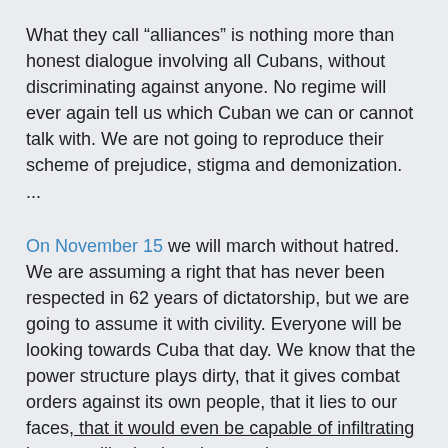What they call “alliances” is nothing more than honest dialogue involving all Cubans, without discriminating against anyone. No regime will ever again tell us which Cuban we can or cannot talk with. We are not going to reproduce their scheme of prejudice, stigma and demonization. ...
On November 15 we will march without hatred. We are assuming a right that has never been respected in 62 years of dictatorship, but we are going to assume it with civility. Everyone will be looking towards Cuba that day. We know that the power structure plays dirty, that it gives combat orders against its own people, that it lies to our faces, that it would even be capable of infiltrating its paramilitaries into the march to generate violence and later blame it on us. Each citizen must be responsible for their conduct and defend the peaceful and firm attitude that we have called for.
November 15 can and should be a beautiful day. Wherever a